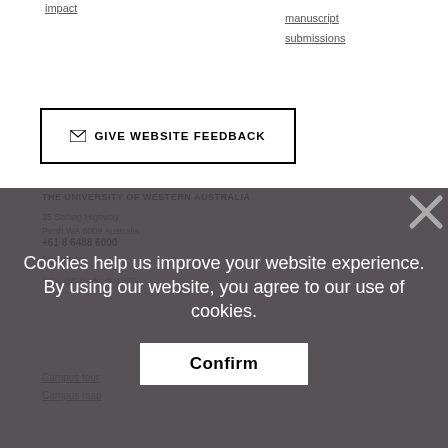impact
manuscript
submissions
✉ GIVE WEBSITE FEEDBACK
THE UNIVERSITY OF WESTERN AUSTRALIA
35 Stirling Highway
Perth WA 6009 Australia
+61 8 6488 6000
Emergency
CRICOS Code: 00126G
Campus tour
Campus map
Cookies help us improve your website experience.
By using our website, you agree to our use of cookies.
Confirm